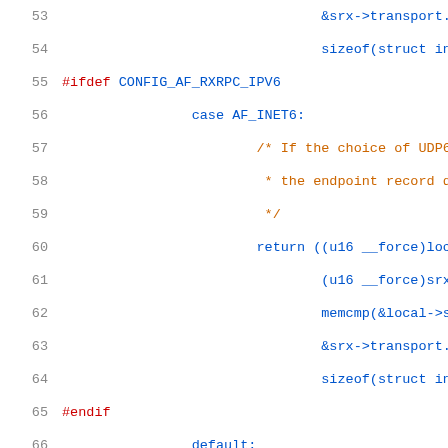[Figure (screenshot): Source code listing showing C kernel code lines 53-74, with syntax highlighting. Lines include ifdef CONFIG_AF_RXRPC_IPV6, case AF_INET6, comments, return statements with memcmp, endif, default, BUG(), closing braces, and a comment block about allocating a new local endpoint.]